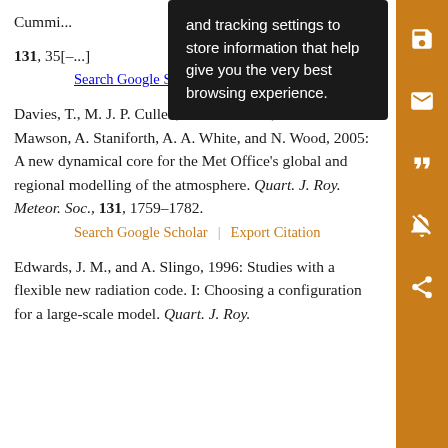Cummi[ngton et al., ...] ocean d[ynamics...] Soc., 131, 35[...]
Search Google Scholar | Export Citation
Davies, T., M. J. P. Cullen, A. J. Malcolm, M. H. Mawson, A. Staniforth, A. A. White, and N. Wood, 2005: A new dynamical core for the Met Office’s global and regional modelling of the atmosphere. Quart. J. Roy. Meteor. Soc., 131, 1759–1782.
Search Google Scholar | Export Citation
Edwards, J. M., and A. Slingo, 1996: Studies with a flexible new radiation code. I: Choosing a configuration for a large-scale model. Quart. J. Roy.